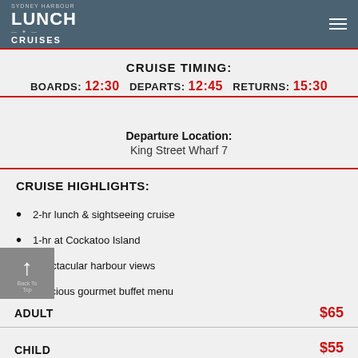Sydney Harbour Lunch Cruises
CRUISE TIMING: BOARDS: 12:30 DEPARTS: 12:45 RETURNS: 15:30
Departure Location: King Street Wharf 7
CRUISE HIGHLIGHTS:
2-hr lunch & sightseeing cruise
1-hr at Cockatoo Island
Spectacular harbour views
Delicious gourmet buffet menu
Fully licensed cash bar
|  |  |
| --- | --- |
| ADULT | $65 |
| CHILD | $55 |